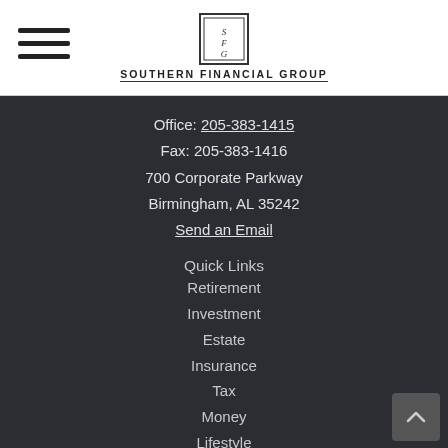SOUTHERN FINANCIAL GROUP
Office: 205-383-1415
Fax: 205-383-1416
700 Corporate Parkway
Birmingham, AL 35242
Send an Email
Quick Links
Retirement
Investment
Estate
Insurance
Tax
Money
Lifestyle
All Articles